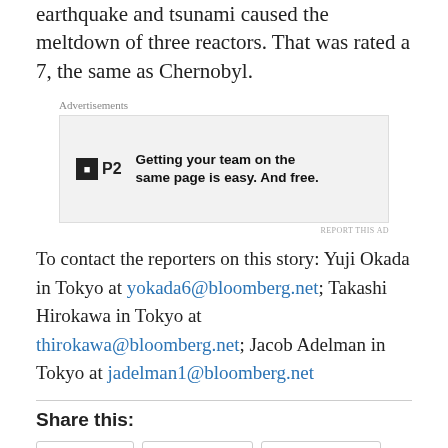earthquake and tsunami caused the meltdown of three reactors. That was rated a 7, the same as Chernobyl.
[Figure (other): Advertisement banner for P2 with text: Getting your team on the same page is easy. And free.]
To contact the reporters on this story: Yuji Okada in Tokyo at yokada6@bloomberg.net; Takashi Hirokawa in Tokyo at thirokawa@bloomberg.net; Jacob Adelman in Tokyo at jadelman1@bloomberg.net
Share this:
Twitter LinkedIn Facebook More
Like
Be the first to like this.